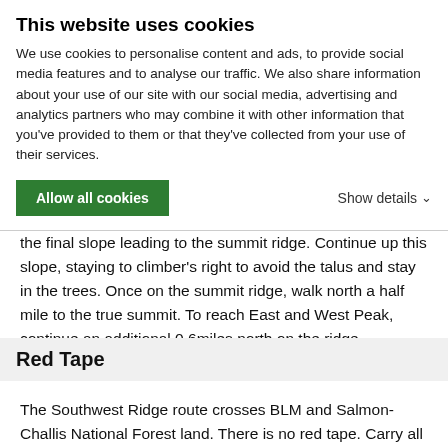This website uses cookies
We use cookies to personalise content and ads, to provide social media features and to analyse our traffic. We also share information about your use of our site with our social media, advertising and analytics partners who may combine it with other information that you've provided to them or that they've collected from your use of their services.
Allow all cookies
Show details
at 8,840'.  At this point it is an easy hike across the ridge to the final slope leading to the summit ridge. Continue up this slope, staying to climber's right to avoid the talus and stay in the trees.  Once on the summit ridge, walk north a half mile to the true summit.  To reach East and West Peak, continue an additional 0.6miles north on the ridge.
Red Tape
The Southwest Ridge route crosses BLM and Salmon-Challis National Forest land.  There is no red tape.  Carry all the water you need.  There is no water on this hike.